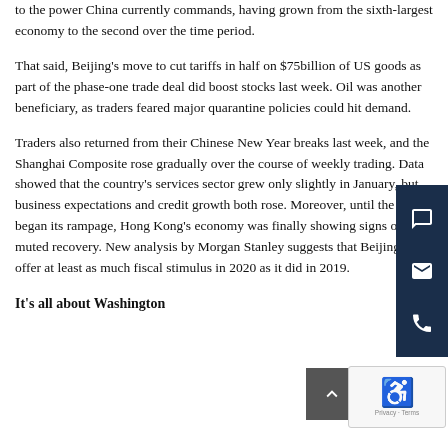to the power China currently commands, having grown from the sixth-largest economy to the second over the time period.
That said, Beijing's move to cut tariffs in half on $75billion of US goods as part of the phase-one trade deal did boost stocks last week. Oil was another beneficiary, as traders feared major quarantine policies could hit demand.
Traders also returned from their Chinese New Year breaks last week, and the Shanghai Composite rose gradually over the course of weekly trading. Data showed that the country's services sector grew only slightly in January, but business expectations and credit growth both rose. Moreover, until the virus began its rampage, Hong Kong's economy was finally showing signs of a muted recovery. New analysis by Morgan Stanley suggests that Beijing will offer at least as much fiscal stimulus in 2020 as it did in 2019.
It's all about Washington